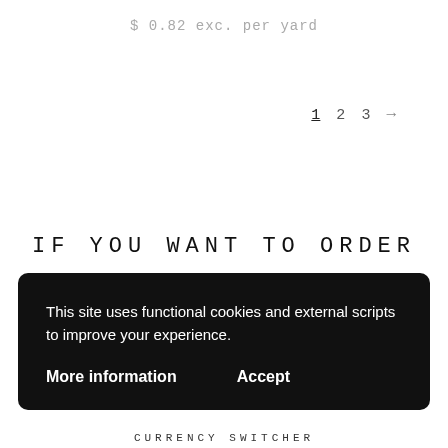$ 0.82 exc. per yard
1  2  3  →
IF YOU WANT TO ORDER
This site uses functional cookies and external scripts to improve your experience.
More information   Accept
CURRENCY SWITCHER